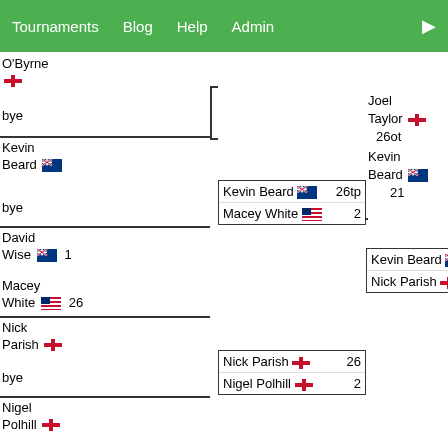Tournaments  Blog  Help  Admin
[Figure (other): Tournament bracket showing players: O'Byrne (England), bye, Kevin Beard (Australia), bye, David Wise (Australia) 1, Macey White (USA) 26, Nick Parish (England), bye, Nigel Polhill (England). Round 2 boxes: Kevin Beard 26tp, Macey White 2; Nick Parish 26, Nigel Polhill 2. Round 3: Kevin Beard 22(t), Nick Parish 19. Round 4: Joel Taylor (England) 26ot, Kevin Beard (Australia) 21.]